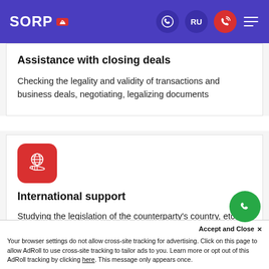SORP
Assistance with closing deals
Checking the legality and validity of transactions and business deals, negotiating, legalizing documents
[Figure (illustration): Red rounded-square icon with globe and hand image representing international support]
International support
Studying the legislation of the counterparty's country, etc...
Accept and Close ×
Your browser settings do not allow cross-site tracking for advertising. Click on this page to allow AdRoll to use cross-site tracking to tailor ads to you. Learn more or opt out of this AdRoll tracking by clicking here. This message only appears once.